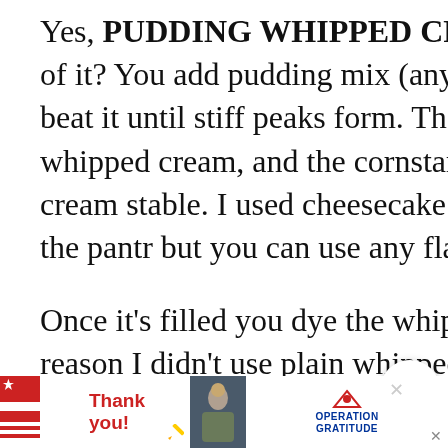Yes, PUDDING WHIPPED CREAM is a thing. Have you ever heard of it? You add pudding mix (any flavor) to heavy whipping cream and beat it until stiff peaks form. The flavor in the pudding flavors the whipped cream, and the cornstarch in the powder helps to keep the cream stable. I used cheesecake pudding mix because it’s what I had in the pantry, but you can use any flavor you like.
Once it’s filled you dye the whipped cream color (which is another reason I didn’t use plain whipped cream; I was afraid the food coloring would make it weep) and then frost away. I used the same neon colors, but made them more pastel (used less of the dye) for the frosting. Then I swirled it on thick,
[Figure (screenshot): Advertisement banner at the bottom: 'Thank you!' text with American flag motif on left, military photo in center, Operation Gratitude logo on right, on dark background.]